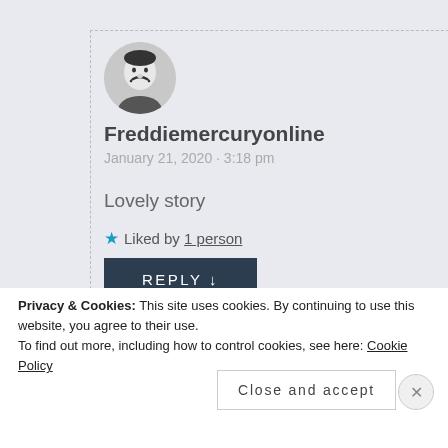[Figure (photo): Circular avatar photo of a man with mustache, black and white]
Freddiemercuryonline
January 21, 2020 · 3:18 pm
Lovely story
★ Liked by 1 person
REPLY ↓
Privacy & Cookies: This site uses cookies. By continuing to use this website, you agree to their use.
To find out more, including how to control cookies, see here: Cookie Policy
Close and accept
All in One Free App
DuckDuckGo
Thanks so much for